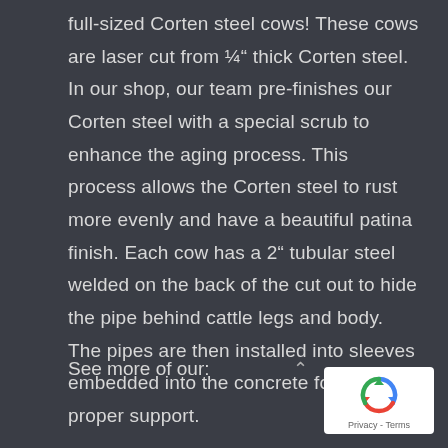full-sized Corten steel cows!  These cows are laser cut from ¼" thick Corten steel.  In our shop, our team pre-finishes our Corten steel with a special scrub to enhance the aging process. This process allows the Corten steel to rust more evenly and have a beautiful patina finish. Each cow has a 2" tubular steel welded on the back of the cut out to hide the pipe behind cattle legs and body. The pipes are then installed into sleeves embedded into the concrete footing for proper support.
See more of our:
[Figure (logo): Google reCAPTCHA badge with recycle-style arrow logo and Privacy - Terms text]